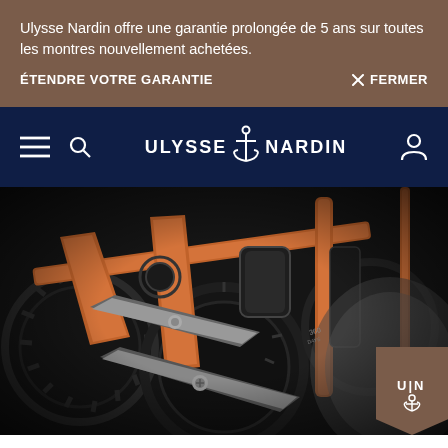Ulysse Nardin offre une garantie prolongée de 5 ans sur toutes les montres nouvellement achetées.
ÉTENDRE VOTRE GARANTIE   ×  FERMER
[Figure (logo): Ulysse Nardin logo with anchor icon on dark navy background with hamburger menu and search and user icons]
[Figure (photo): Close-up macro photograph of a luxury watch movement showing orange/copper colored bridges, gears, tourbillon and mechanical components against dark background]
[Figure (logo): Ulysse Nardin UN anchor badge in brown/tan color positioned bottom right of hero image]